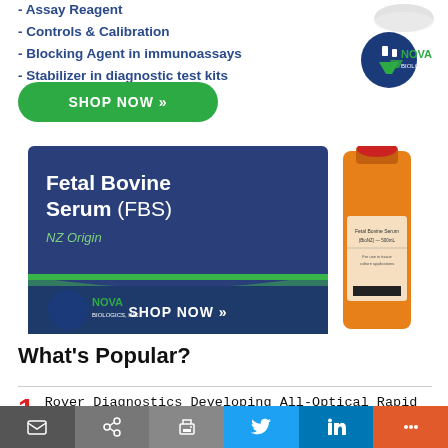- Assay Reagent
- Controls & Calibration
- Blocking Agent in immunoassays
- Stabilizer in diagnostic test kits
[Figure (other): Nova Biologics Inc. logo with flask graphic, top right corner]
[Figure (other): Green SHOP NOW button with double chevron arrows]
[Figure (other): Nova Biologics advertisement banner for Fetal Bovine Serum (FBS) NZ Origin with orange bottle image, SHOP NOW button, and Nova Biologics logo]
What's Popular?
1  Rover Diagnostics Developing All-Optical Rapid Point-of-Care qPCR Platform
[Figure (other): Bottom social share toolbar with email, share, print, Twitter, LinkedIn, and more buttons]